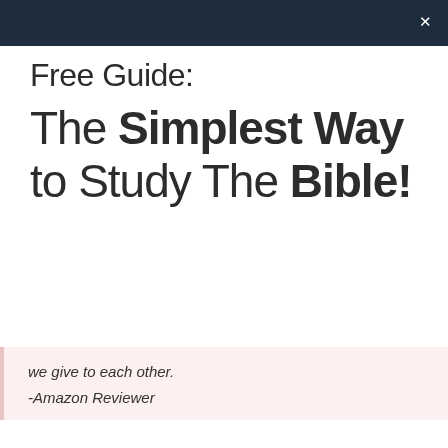×
Free Guide:
The Simplest Way to Study The Bible!
we give to each other.
-Amazon Reviewer